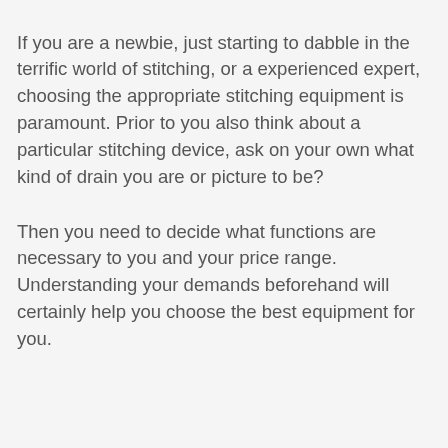Picking the appropriate stitching machine will conserve you time, energy and keep stress at bay.
If you are a newbie, just starting to dabble in the terrific world of stitching, or a experienced expert, choosing the appropriate stitching equipment is paramount. Prior to you also think about a particular stitching device, ask on your own what kind of drain you are or picture to be?
Then you need to decide what functions are necessary to you and your price range. Understanding your demands beforehand will certainly help you choose the best equipment for you.